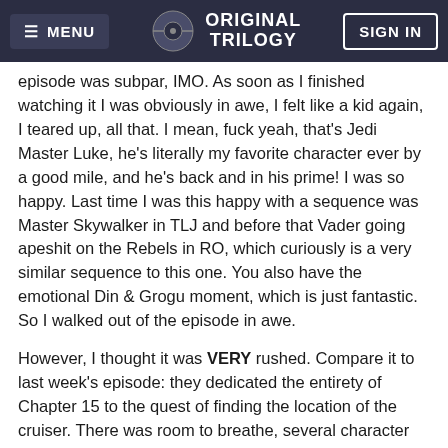MENU | ORIGINAL TRILOGY | SIGN IN
episode was subpar, IMO. As soon as I finished watching it I was obviously in awe, I felt like a kid again, I teared up, all that. I mean, fuck yeah, that's Jedi Master Luke, he's literally my favorite character ever by a good mile, and he's back and in his prime! I was so happy. Last time I was this happy with a sequence was Master Skywalker in TLJ and before that Vader going apeshit on the Rebels in RO, which curiously is a very similar sequence to this one. You also have the emotional Din & Grogu moment, which is just fantastic. So I walked out of the episode in awe.
However, I thought it was VERY rushed. Compare it to last week's episode: they dedicated the entirety of Chapter 15 to the quest of finding the location of the cruiser. There was room to breathe, several character moments for both Din and Mayfeld, the action didn't feel overwhelming because there was actually tension